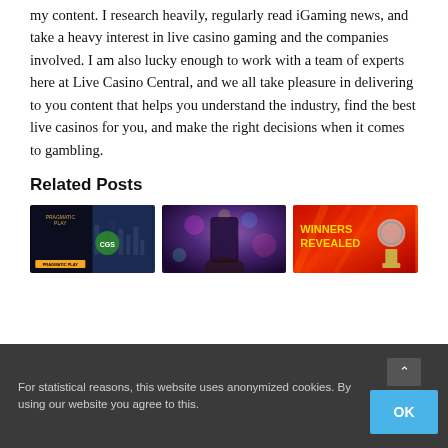my content. I research heavily, regularly read iGaming news, and take a heavy interest in live casino gaming and the companies involved. I am also lucky enough to work with a team of experts here at Live Casino Central, and we all take pleasure in delivering to you content that helps you understand the industry, find the best live casinos for you, and make the right decisions when it comes to gambling.
Related Posts
[Figure (photo): Pragmatic Play and CGS Brasil 2022 event promotional image on dark background with city skyline]
[Figure (photo): Hand holding a smartphone with colorful bokeh lights in background]
[Figure (photo): Winners Revealed - Global Gaming Awards on red background with trophy]
For statistical reasons, this website uses anonymized cookies. By using our website you agree to this.